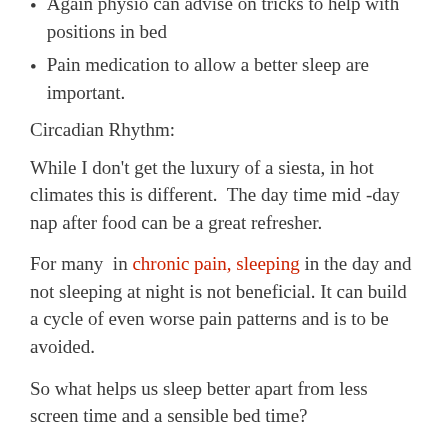Again physio can advise on tricks to help with positions in bed
Pain medication to allow a better sleep are important.
Circadian Rhythm:
While I don't get the luxury of a siesta, in hot climates this is different.  The day time mid -day nap after food can be a great refresher.
For many  in chronic pain, sleeping in the day and not sleeping at night is not beneficial. It can build a cycle of even worse pain patterns and is to be avoided.
So what helps us sleep better apart from less screen time and a sensible bed time?